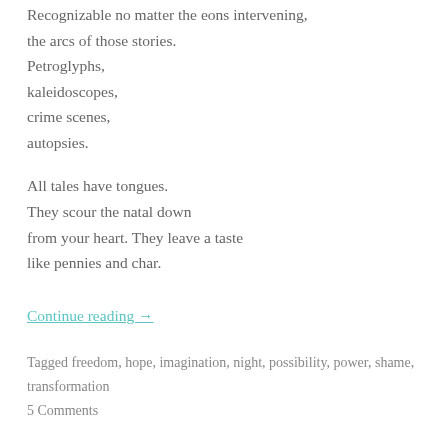Recognizable no matter the eons intervening,
the arcs of those stories.
Petroglyphs,
kaleidoscopes,
crime scenes,
autopsies.
All tales have tongues.
They scour the natal down
from your heart. They leave a taste
like pennies and char.
Continue reading →
Tagged freedom, hope, imagination, night, possibility, power, shame, transformation
5 Comments